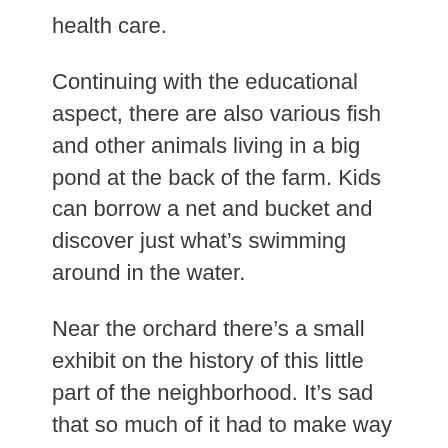health care.
Continuing with the educational aspect, there are also various fish and other animals living in a big pond at the back of the farm. Kids can borrow a net and bucket and discover just what's swimming around in the water.
Near the orchard there’s a small exhibit on the history of this little part of the neighborhood. It’s sad that so much of it had to make way for the freeway. On the other hand there are copies of some fascinating, centuries-old maps there and if you’re lucky a passionate volunteer will tell you more about the place’s history.